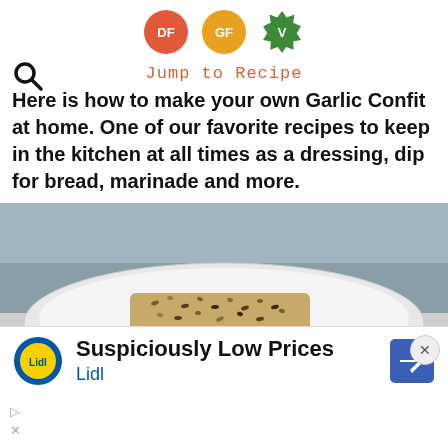[Figure (infographic): Three dietary badge icons: DF (red circle), GF (orange circle), V (green starburst)]
Jump to Recipe
Here is how to make your own Garlic Confit at home. One of our favorite recipes to keep in the kitchen at all times as a dressing, dip for bread, marinade and more.
[Figure (photo): Close-up photo of a white bowl with a piece of seeded bread/cracker dipped in garlic confit oil, with a light blue background]
[Figure (infographic): Lidl advertisement banner: 'Suspiciously Low Prices' with Lidl logo and a navigation arrow icon]